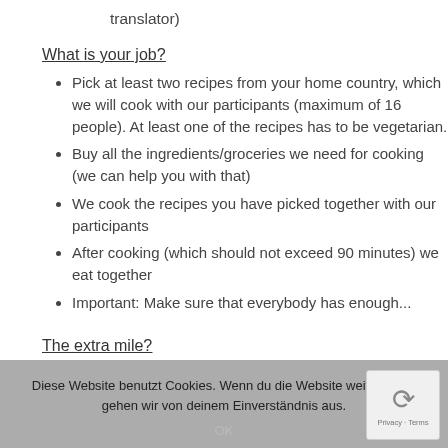translator)
What is your job?
Pick at least two recipes from your home country, which we will cook with our participants (maximum of 16 people). At least one of the recipes has to be vegetarian.
Buy all the ingredients/groceries we need for cooking (we can help you with that)
We cook the recipes you have picked together with our participants
After cooking (which should not exceed 90 minutes) we eat together
Important: Make sure that everybody has enough...
The extra mile?
Diese Website benutzt Cookies. Wenn du die Website weiter nutzt, gehen wir von deinem Einverständnis aus.